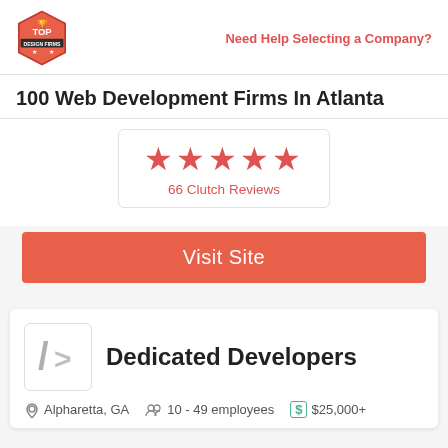Top Design Firms | Need Help Selecting a Company?
100 Web Development Firms In Atlanta
[Figure (other): Five red star rating icons]
66 Clutch Reviews
Visit Site
[Figure (logo): Dedicated Developers logo: code brackets icon]
Dedicated Developers
Alpharetta, GA   10 - 49 employees   $25,000+